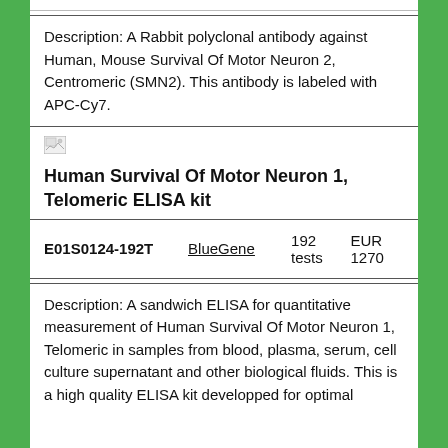Description: A Rabbit polyclonal antibody against Human, Mouse Survival Of Motor Neuron 2, Centromeric (SMN2). This antibody is labeled with APC-Cy7.
[Figure (photo): Small broken image placeholder icon]
Human Survival Of Motor Neuron 1, Telomeric ELISA kit
| ID | Supplier | Quantity | Price |
| --- | --- | --- | --- |
| E01S0124-192T | BlueGene | 192 tests | EUR 1270 |
Description: A sandwich ELISA for quantitative measurement of Human Survival Of Motor Neuron 1, Telomeric in samples from blood, plasma, serum, cell culture supernatant and other biological fluids. This is a high quality ELISA kit developped for optimal